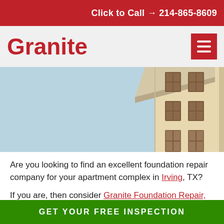Click to Call → 214-865-8609
Granite
[Figure (photo): Photo of a beige/cream multi-story apartment building against a blue sky, showing the corner of the building with multiple windows with dark brown frames.]
Are you looking to find an excellent foundation repair company for your apartment complex in Irving, TX?
If you are, then consider Granite Foundation Repair, Inc.!
GET YOUR FREE INSPECTION